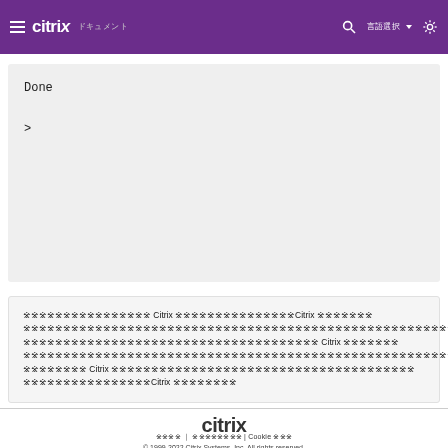citrix | ドキュメント | 検索 | 言語選択
Done
>
本製品またはコンポーネントは Citrix によって認定されているCitrix 認定済み製品の一覧については、「Citrix 認定済み製品」を参照してください。本製品またはコンポーネントは Citrix によってサポートされている製品の一覧については、「Citrix サポート対象製品」を参照してください。
[Figure (logo): Citrix logo in footer]
プライバシーポリシー ｜ 利用規約 | Cookie 設定
© 1999-2022 Citrix Systems, Inc. All rights reserved.